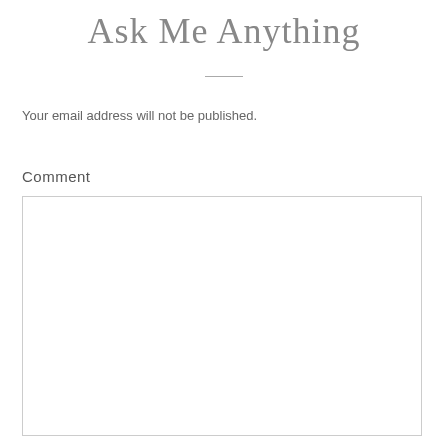Ask Me Anything
Your email address will not be published.
Comment